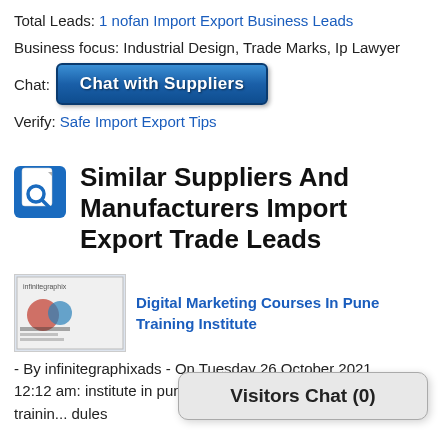Total Leads: 1 nofan Import Export Business Leads
Business focus: Industrial Design, Trade Marks, Ip Lawyer
Chat: [Chat with Suppliers button]
Verify: Safe Import Export Tips
Similar Suppliers And Manufacturers Import Export Trade Leads
[Figure (photo): Thumbnail image for Digital Marketing Courses listing]
Digital Marketing Courses In Pune Training Institute
- By infinitegraphixads - On Tuesday 26 October 2021 12:12 am: institute in pune is in... we offer digital marketing trainin... dules
Visitors Chat (0)